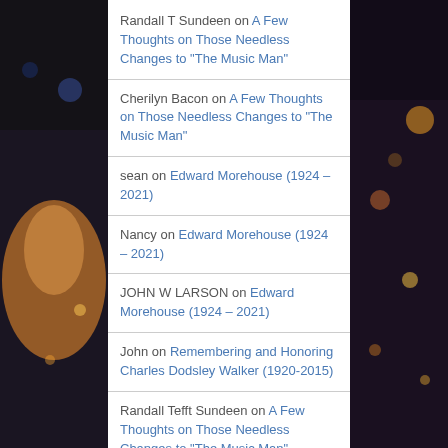Randall T Sundeen on A Few Thoughts on Those Needless Changes to “The Music Man”
Cherilyn Bacon on A Few Thoughts on Those Needless Changes to “The Music Man”
sean on Edward Morehouse (1924 – 2021)
Nancy on Edward Morehouse (1924 – 2021)
JOHN W LARSON on Edward Morehouse (1924 – 2021)
John on Remembering and Honoring Charles Dodsley Walker (1920-2015)
Randall Tefft Sundeen on A Few Thoughts on Those Needless Changes to “The Music Man”